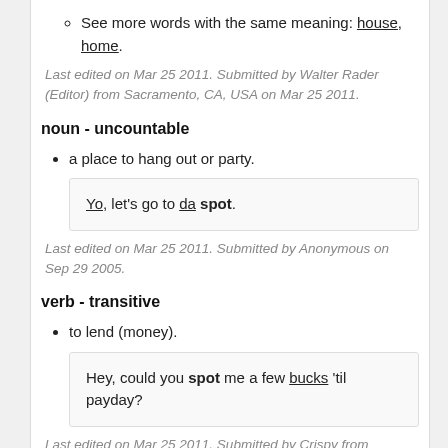See more words with the same meaning: house, home.
Last edited on Mar 25 2011. Submitted by Walter Rader (Editor) from Sacramento, CA, USA on Mar 25 2011.
noun - uncountable
a place to hang out or party.
Yo, let's go to da spot.
Last edited on Mar 25 2011. Submitted by Anonymous on Sep 29 2005.
verb - transitive
to lend (money).
Hey, could you spot me a few bucks 'til payday?
Last edited on Mar 25 2011. Submitted by Crispy from